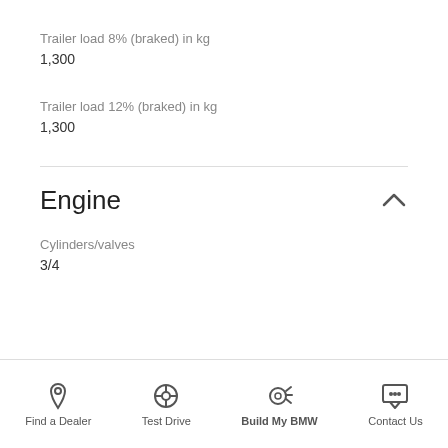Trailer load 8% (braked) in kg
1,300
Trailer load 12% (braked) in kg
1,300
Engine
Cylinders/valves
3/4
Find a Dealer | Test Drive | Build My BMW | Contact Us